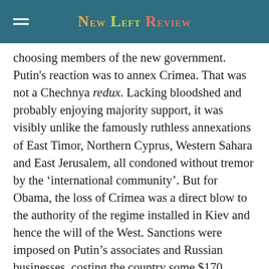New Left Review
choosing members of the new government. Putin's reaction was to annex Crimea. That was not a Chechnya redux. Lacking bloodshed and probably enjoying majority support, it was visibly unlike the famously ruthless annexations of East Timor, Northern Cyprus, Western Sahara and East Jerusalem, all condoned without tremor by the ‘international community’. But for Obama, the loss of Crimea was a direct blow to the authority of the regime installed in Kiev and hence the will of the West. Sanctions were imposed on Putin’s associates and Russian businesses, costing the country some $170 billion by mid-2016, with another $400 billion